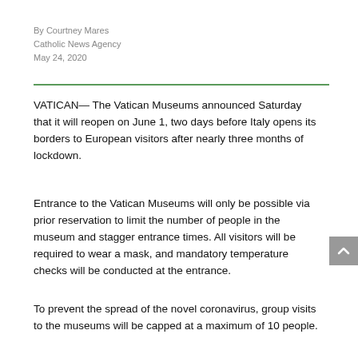By Courtney Mares
Catholic News Agency
May 24, 2020
VATICAN— The Vatican Museums announced Saturday that it will reopen on June 1, two days before Italy opens its borders to European visitors after nearly three months of lockdown.
Entrance to the Vatican Museums will only be possible via prior reservation to limit the number of people in the museum and stagger entrance times. All visitors will be required to wear a mask, and mandatory temperature checks will be conducted at the entrance.
To prevent the spread of the novel coronavirus, group visits to the museums will be capped at a maximum of 10 people.